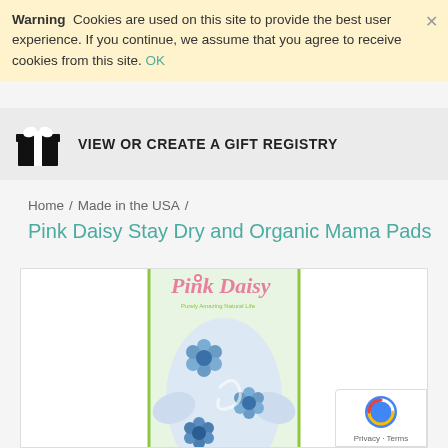Warning  Cookies are used on this site to provide the best user experience. If you continue, we assume that you agree to receive cookies from this site. OK
VIEW OR CREATE A GIFT REGISTRY
Home / Made in the USA /
Pink Daisy Stay Dry and Organic Mama Pads
[Figure (photo): Pink Daisy product package showing blue floral cloth pad with 'Pink Daisy' branding on a green hanger card.]